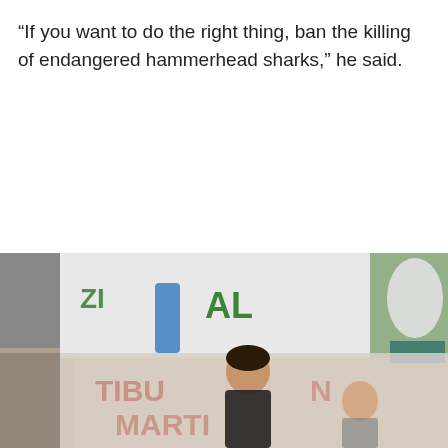“If you want to do the right thing, ban the killing of endangered hammerhead sharks,” he said.
[Figure (photo): Protesters holding banners including text 'AL' and partial text 'TIBURON MARTI' visible, man in foreground, woman to the right, outdoor protest scene with trees in background.]